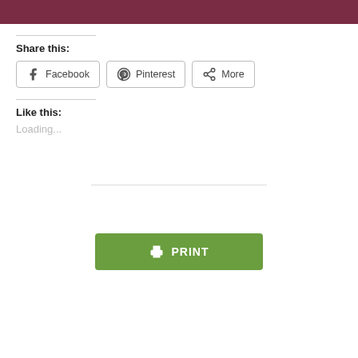[Figure (other): Dark maroon/burgundy header bar at top of page]
Share this:
[Figure (other): Share buttons: Facebook, Pinterest, More]
Like this:
Loading...
[Figure (other): Horizontal divider line in center]
[Figure (other): Green PRINT button with printer icon]